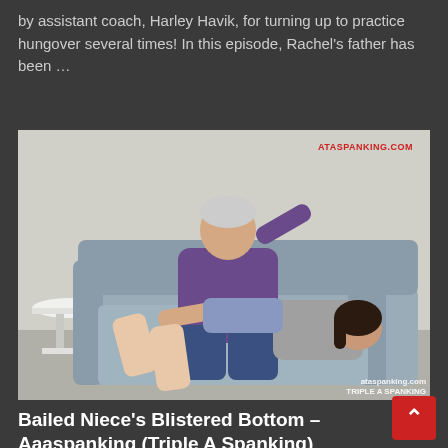by assistant coach, Harley Havik, for turning up to practice hungover several times! In this episode, Rachel's father has been …
Read More »
[Figure (photo): Photo showing two people on a grey sofa, with watermark ATASPANKING.COM top right and TRIPLE A SPANKING bottom right]
Bailed Niece's Blistered Bottom – Aaaspanking (Triple A Spanking)
December 12, 2021   Aaaspanking   0
Luci has been bailed out by the only family member able to, her Uncle Rob. However, she needs to be in his care and she is far from